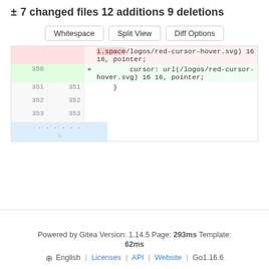± 7 changed files 12 additions 9 deletions
[Figure (screenshot): Three buttons: Whitespace, Split View, Diff Options]
Code diff showing removal of i.space/logos/red-cursor-hover.svg) 16 16, pointer; and addition of cursor: url(/logos/red-cursor-hover.svg) 16 16, pointer; with line numbers 350, 351, 352, 353
Powered by Gitea Version: 1.14.5 Page: 293ms Template: 62ms
English | Licenses | API | Website | Go1.16.6